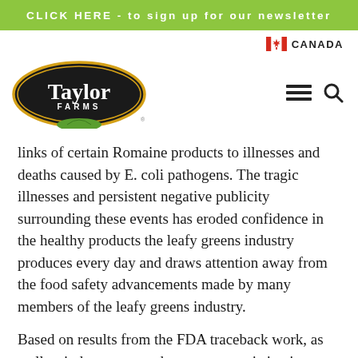CLICK HERE - to sign up for our newsletter
[Figure (logo): Taylor Farms logo - oval black background with gold border, white text 'Taylor FARMS', green leaf graphic below]
links of certain Romaine products to illnesses and deaths caused by E. coli pathogens. The tragic illnesses and persistent negative publicity surrounding these events has eroded confidence in the healthy products the leafy greens industry produces every day and draws attention away from the food safety advancements made by many members of the leafy greens industry.
Based on results from the FDA traceback work, as well as industry research, open source irrigation water has been identified as a meaningful risk factor for promoting the harborage and